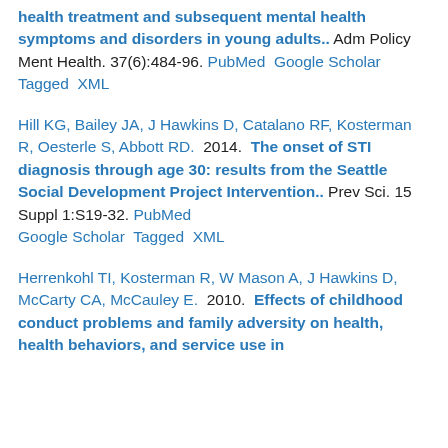health treatment and subsequent mental health symptoms and disorders in young adults.. Adm Policy Ment Health. 37(6):484-96. PubMed Google Scholar Tagged XML
Hill KG, Bailey JA, J Hawkins D, Catalano RF, Kosterman R, Oesterle S, Abbott RD. 2014. The onset of STI diagnosis through age 30: results from the Seattle Social Development Project Intervention.. Prev Sci. 15 Suppl 1:S19-32. PubMed Google Scholar Tagged XML
Herrenkohl TI, Kosterman R, W Mason A, J Hawkins D, McCarty CA, McCauley E. 2010. Effects of childhood conduct problems and family adversity on health, health behaviors, and service use in